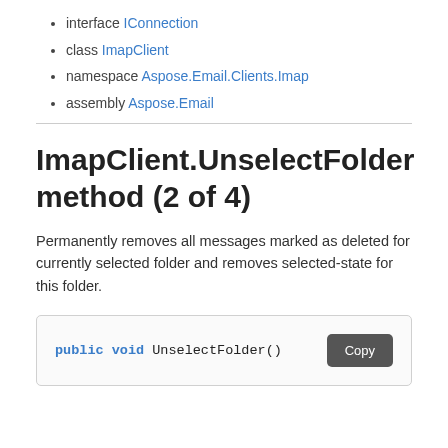interface IConnection
class ImapClient
namespace Aspose.Email.Clients.Imap
assembly Aspose.Email
ImapClient.UnselectFolder method (2 of 4)
Permanently removes all messages marked as deleted for currently selected folder and removes selected-state for this folder.
public void UnselectFolder()